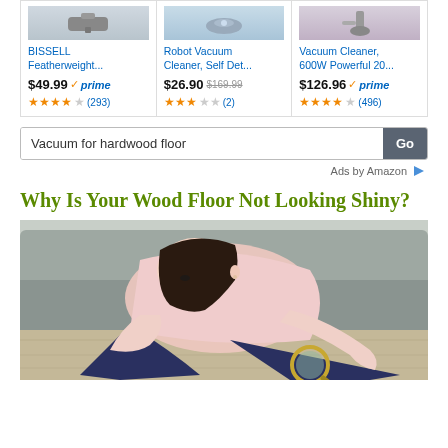[Figure (screenshot): Amazon product listing row showing three vacuum cleaners: BISSELL Featherweight ($49.99, Prime, 4-star, 293 reviews), Robot Vacuum Cleaner Self Det... ($26.90 was $169.99, 3-star, 2 reviews), Vacuum Cleaner 600W Powerful 20... ($126.96, Prime, 4.5-star, 496 reviews)]
BISSELL Featherweight...
Robot Vacuum Cleaner, Self Det...
Vacuum Cleaner, 600W Powerful 20...
Vacuum for hardwood floor
Ads by Amazon
Why Is Your Wood Floor Not Looking Shiny?
[Figure (photo): Woman in pink shirt bending down close to a hardwood floor, looking through a magnifying glass at the floor surface, with a grey couch in the background]